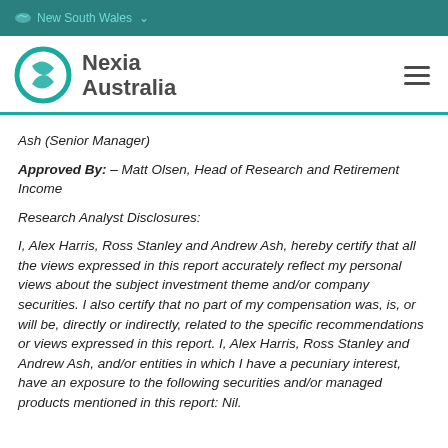New South Wales
[Figure (logo): Nexia Australia logo with teal interlocking circles and dark grey text]
Ash (Senior Manager)
Approved By: – Matt Olsen, Head of Research and Retirement Income
Research Analyst Disclosures:
I, Alex Harris, Ross Stanley and Andrew Ash, hereby certify that all the views expressed in this report accurately reflect my personal views about the subject investment theme and/or company securities. I also certify that no part of my compensation was, is, or will be, directly or indirectly, related to the specific recommendations or views expressed in this report. I, Alex Harris, Ross Stanley and Andrew Ash, and/or entities in which I have a pecuniary interest, have an exposure to the following securities and/or managed products mentioned in this report: Nil.